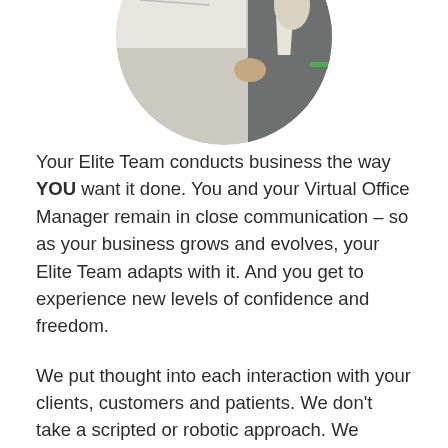[Figure (photo): Circular cropped photo of a person in a grey suit, partially visible, standing near a whiteboard or wall with a robotic or mechanical device]
Your Elite Team conducts business the way YOU want it done. You and your Virtual Office Manager remain in close communication – so as your business grows and evolves, your Elite Team adapts with it. And you get to experience new levels of confidence and freedom.
We put thought into each interaction with your clients, customers and patients. We don't take a scripted or robotic approach. We understand the importance of small details.